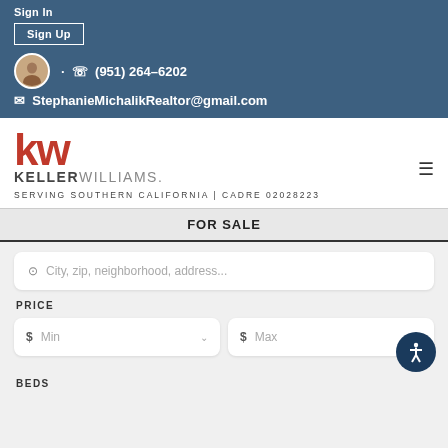Sign In
Sign Up
· ☎ (951) 264-6202
✉ StephanieMichalikRealtor@gmail.com
[Figure (logo): Keller Williams KW logo in red with KELLER WILLIAMS text below]
SERVING SOUTHERN CALIFORNIA | CADRE 02028223
FOR SALE
City, zip, neighborhood, address...
PRICE
$ Min
$ Max
BEDS